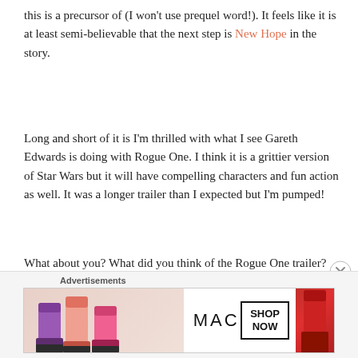this is a precursor of (I won't use prequel word!).  It feels like it is at least semi-believable that the next step is New Hope in the story.
Long and short of it is I'm thrilled with what I see Gareth Edwards is doing with Rogue One.  I think it is a grittier version of Star Wars but it will have compelling characters and fun action as well.  It was a longer trailer than I expected but I'm pumped!
What about you?  What did you think of the Rogue One trailer?  Did you see Star Wars Rebels finale?  Without spoilers let me know what you thought!
[Figure (advertisement): MAC cosmetics advertisement banner showing lipsticks with MAC logo and SHOP NOW button]